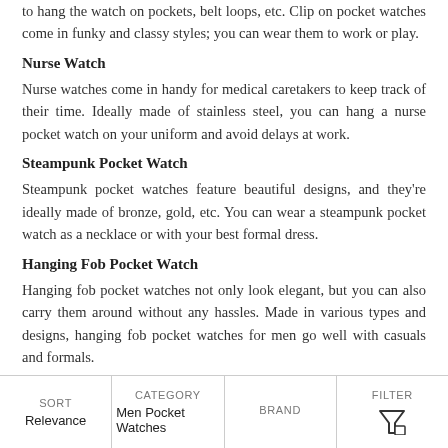to hang the watch on pockets, belt loops, etc. Clip on pocket watches come in funky and classy styles; you can wear them to work or play.
Nurse Watch
Nurse watches come in handy for medical caretakers to keep track of their time. Ideally made of stainless steel, you can hang a nurse pocket watch on your uniform and avoid delays at work.
Steampunk Pocket Watch
Steampunk pocket watches feature beautiful designs, and they're ideally made of bronze, gold, etc. You can wear a steampunk pocket watch as a necklace or with your best formal dress.
Hanging Fob Pocket Watch
Hanging fob pocket watches not only look elegant, but you can also carry them around without any hassles. Made in various types and designs, hanging fob pocket watches for men go well with casuals and formals.
Personalized Pocket Watch
Personalized pocket watches either feature initials or, may also allow
SORT Relevance | CATEGORY Men Pocket Watches | BRAND | FILTER